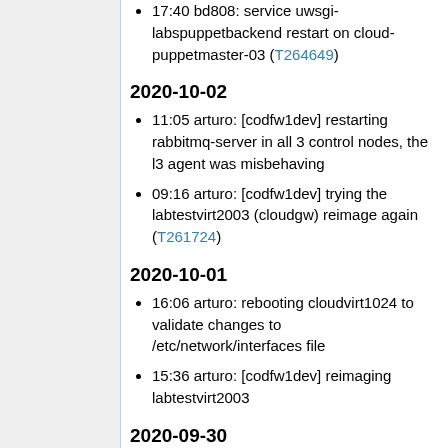17:40 bd808: `service uwsgi-labspuppetbackend restart` on cloud-puppetmaster-03 (T264649)
2020-10-02
11:05 arturo: [codfw1dev] restarting rabbitmq-server in all 3 control nodes, the l3 agent was misbehaving
09:16 arturo: [codfw1dev] trying the labtestvirt2003 (cloudgw) reimage again (T261724)
2020-10-01
16:06 arturo: rebooting cloudvirt1024 to validate changes to /etc/network/interfaces file
15:36 arturo: [codfw1dev] reimaging labtestvirt2003
2020-09-30